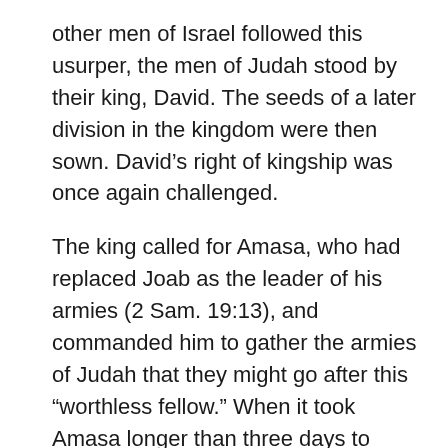other men of Israel followed this usurper, the men of Judah stood by their king, David. The seeds of a later division in the kingdom were then sown. David’s right of kingship was once again challenged.
The king called for Amasa, who had replaced Joab as the leader of his armies (2 Sam. 19:13), and commanded him to gather the armies of Judah that they might go after this “worthless fellow.” When it took Amasa longer than three days to accomplish the task, David was very upset, for he was afraid Sheba would do him more harm than Absalom had